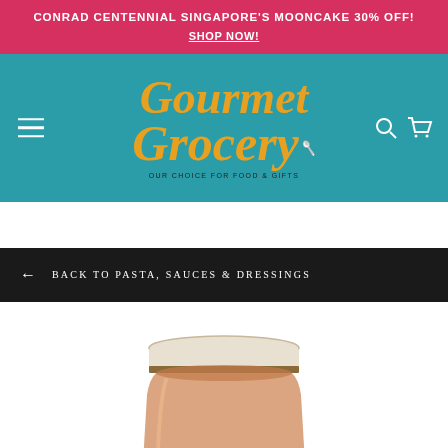CONRAD CENTENNIAL SINGAPORE'S MOONCAKE 30% OFF! SHOP NOW!
[Figure (logo): Gourmet Grocery logo on teal background with hamburger menu icon, search icon, and cart icon]
← BACK TO PASTA, SAUCES & DRESSINGS
[Figure (photo): A glass jar of pasta sauce with a beige lid and brown stripe, partially visible]